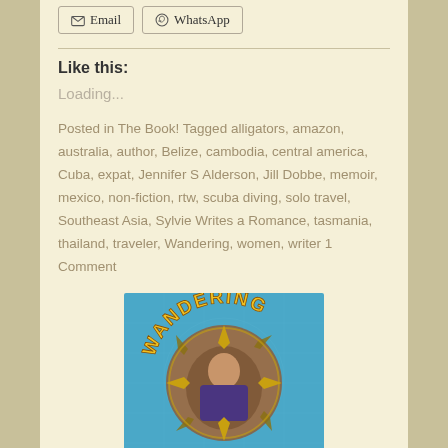Email  WhatsApp (share buttons)
Like this:
Loading...
Posted in The Book! Tagged alligators, amazon, australia, author, Belize, cambodia, central america, Cuba, expat, Jennifer S Alderson, Jill Dobbe, memoir, mexico, non-fiction, rtw, scuba diving, solo travel, Southeast Asia, Sylvie Writes a Romance, tasmania, thailand, traveler, Wandering, women, writer 1 Comment
[Figure (photo): Book cover image: 'Wandering' - teal/blue background with compass rose, woman sitting in center circle, yellow stylized text reading WANDERING arched at top]